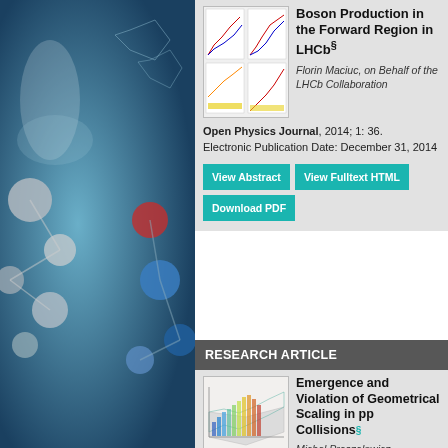[Figure (illustration): Decorative science background with molecular/lab imagery (blue tones, molecules, lab glass)]
[Figure (other): Thumbnail image showing scientific plots/charts from the Boson Production paper]
Boson Production in the Forward Region in LHCb§
Florin Maciuc, on Behalf of the LHCb Collaboration
Open Physics Journal, 2014; 1: 36. Electronic Publication Date: December 31, 2014
View Abstract | View Fulltext HTML | Download PDF
RESEARCH ARTICLE
[Figure (other): Thumbnail 3D plot from the Geometrical Scaling paper]
Emergence and Violation of Geometrical Scaling in pp Collisions§
Michal Praszalowicz